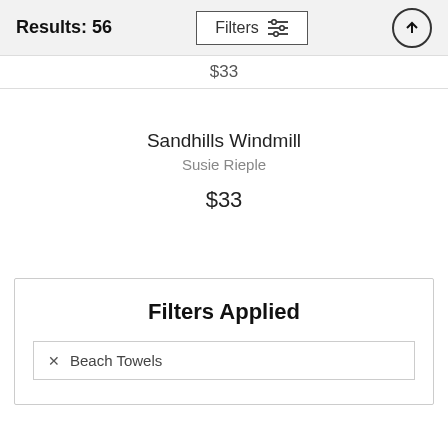Results: 56  Filters  ↑
$33
Sandhills Windmill
Susie Rieple
$33
Filters Applied
✕ Beach Towels